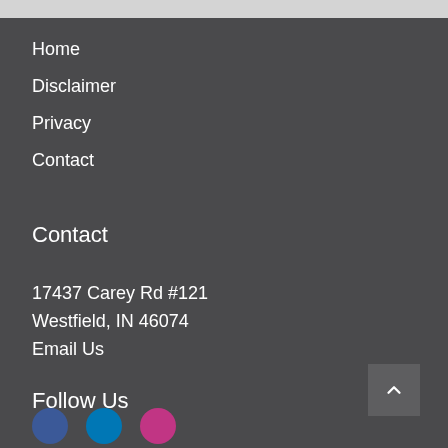Home
Disclaimer
Privacy
Contact
Contact
17437 Carey Rd #121
Westfield, IN 46074
Email Us
Follow Us